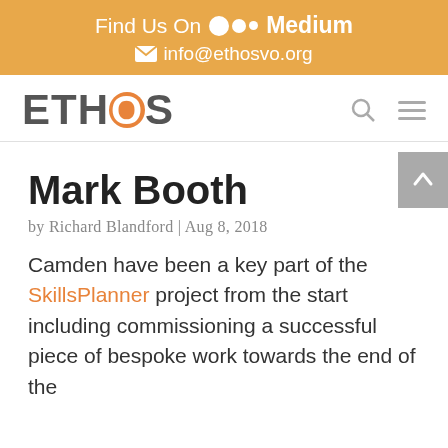Find Us On Medium
info@ethosvo.org
[Figure (logo): ETHOS logo with orange O letter, search icon, and hamburger menu icon in navigation bar]
Mark Booth
by Richard Blandford | Aug 8, 2018
Camden have been a key part of the SkillsPlanner project from the start including commissioning a successful piece of bespoke work towards the end of the